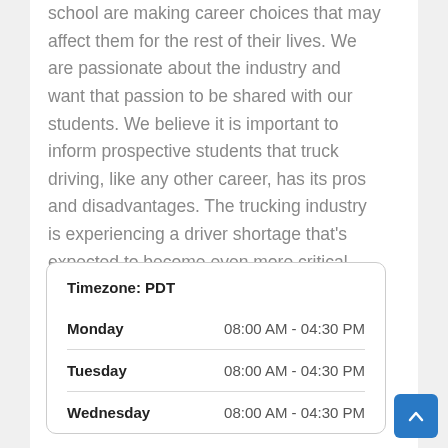school are making career choices that may affect them for the rest of their lives. We are passionate about the industry and want that passion to be shared with our students. We believe it is important to inform prospective students that truck driving, like any other career, has its pros and disadvantages. The trucking industry is experiencing a driver shortage that's expected to become even more critical during the 2000's. Experienced drivers can earn a good salary! For more information, call us today.
| Day | Hours |
| --- | --- |
| Monday | 08:00 AM - 04:30 PM |
| Tuesday | 08:00 AM - 04:30 PM |
| Wednesday | 08:00 AM - 04:30 PM |